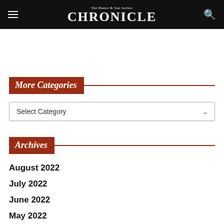The Hemet & San Jacinto CHRONICLE
More Categories
Select Category
Archives
August 2022
July 2022
June 2022
May 2022